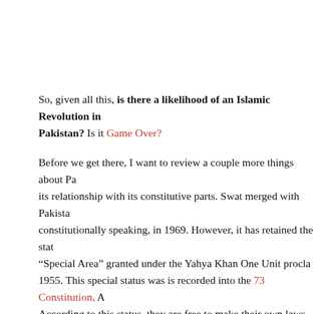So, given all this, is there a likelihood of an Islamic Revolution in Pakistan? Is it Game Over?
Before we get there, I want to review a couple more things about Pakistan and its relationship with its constitutive parts. Swat merged with Pakistan, constitutionally speaking, in 1969. However, it has retained the status of a “Special Area” granted under the Yahya Khan One Unit proclamation of 1955. This special status was is recorded into the 73 Constitution, Article 247. According to this status, they are free to make their own laws and govern themselves. The President can, from 'time to time', give some directions to the Governor but the Parliament, Supreme Court or any High Court has no jurisdiction. So, the Swat 'Sharia' deal is a capitulation insofar as Pakistan has never amended its Constitution to make the FATA territories squarely under its law. Additionally, the Swat deal seems to be the only way to curb Maulana Fazlullah. If Obama is going to talk about 'good' Taliban in Afghanistan...